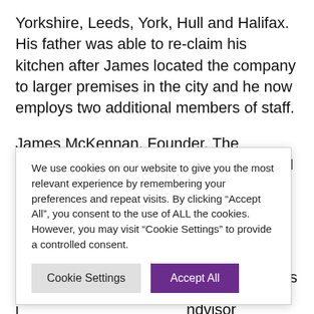Yorkshire, Leeds, York, Hull and Halifax. His father was able to re-claim his kitchen after James located the company to larger premises in the city and he now employs two additional members of staff.
James McKennan, Founder, The Sheffield Candle Company said: "When I first started this journey I knew very little a[bout running] a business. It's i[nspiring to see] a child's candle m[aking kit grow] ch in such a m[anner...] "[...] ad programme h[as helped me] I develop my i[deas with] ndvisor Christina l[who has been] ping me to navigate the challenges that my business has faced –
We use cookies on our website to give you the most relevant experience by remembering your preferences and repeat visits. By clicking "Accept All", you consent to the use of ALL the cookies. However, you may visit "Cookie Settings" to provide a controlled consent.
Cookie Settings
Accept All
navigate the challenges that my business has faced –